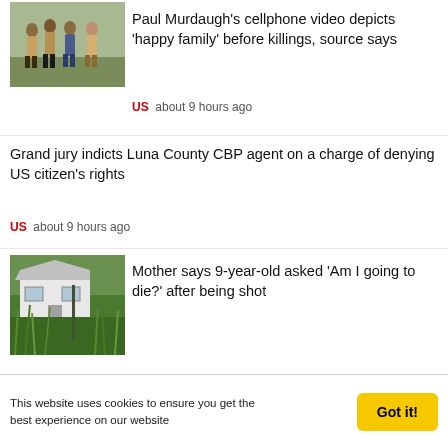[Figure (photo): Group of people standing outdoors, news article thumbnail]
Paul Murdaugh's cellphone video depicts 'happy family' before killings, source says
US   about 9 hours ago
Grand jury indicts Luna County CBP agent on a charge of denying US citizen's rights
US   about 9 hours ago
[Figure (photo): Small white house surrounded by tall overgrown grass, news article thumbnail]
Mother says 9-year-old asked 'Am I going to die?' after being shot
This website uses cookies to ensure you get the best experience on our website
Got it!